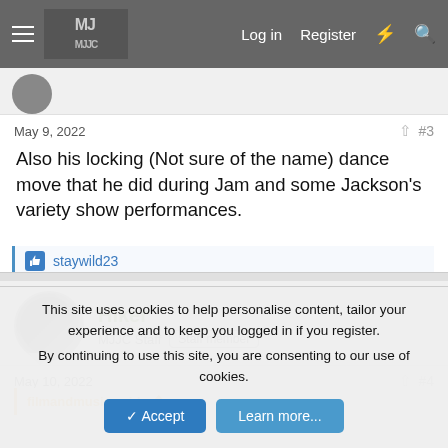Log in  Register
May 9, 2022  #3
Also his locking (Not sure of the name) dance move that he did during Jam and some Jackson's variety show performances.
staywild23
Hiker
MJJC Staff  Staff member
May 10, 2022  #4
filmandmusic said:
This site uses cookies to help personalise content, tailor your experience and to keep you logged in if you register.
By continuing to use this site, you are consenting to our use of cookies.
Accept  Learn more...